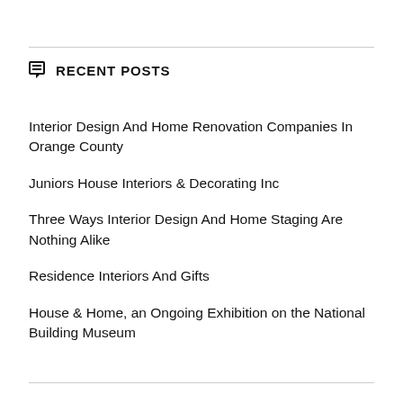RECENT POSTS
Interior Design And Home Renovation Companies In Orange County
Juniors House Interiors & Decorating Inc
Three Ways Interior Design And Home Staging Are Nothing Alike
Residence Interiors And Gifts
House & Home, an Ongoing Exhibition on the National Building Museum